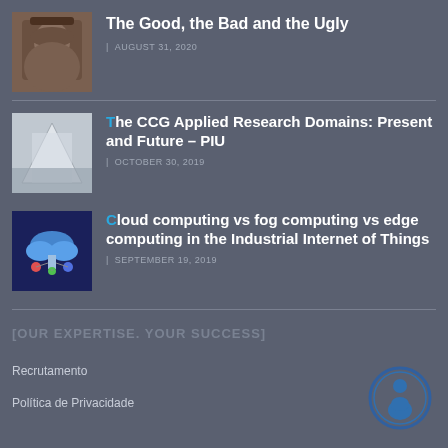[Figure (photo): Small thumbnail photo of a man in a hat, movie-style western look]
The Good, the Bad and the Ugly
| AUGUST 31, 2020
[Figure (photo): Small thumbnail photo showing a light-colored geometric/structural image]
The CCG Applied Research Domains: Present and Future – PIU
| OCTOBER 30, 2019
[Figure (illustration): Dark blue thumbnail with cloud and IoT/computing icons]
Cloud computing vs fog computing vs edge computing in the Industrial Internet of Things
| SEPTEMBER 19, 2019
[OUR EXPERTISE. YOUR SUCCESS]
Recrutamento
Política de Privacidade
[Figure (logo): Circular dark blue badge/logo icon with a figure inside]